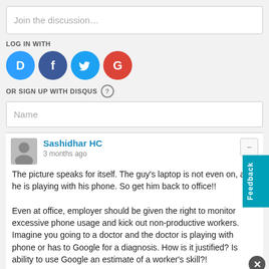Join the discussion…
LOG IN WITH
[Figure (other): Social login icons: Disqus (blue D), Facebook (dark blue f), Twitter (light blue bird), Google (red G)]
OR SIGN UP WITH DISQUS ?
Name
Sashidhar HC
3 months ago
The picture speaks for itself. The guy's laptop is not even on, and he is playing with his phone. So get him back to office!!

Even at office, employer should be given the right to monitor excessive phone usage and kick out non-productive workers. Imagine you going to a doctor and the doctor is playing with phone or has to Google for a diagnosis. How is it justified? Is ability to use Google an estimate of a worker's skill?!
Reply